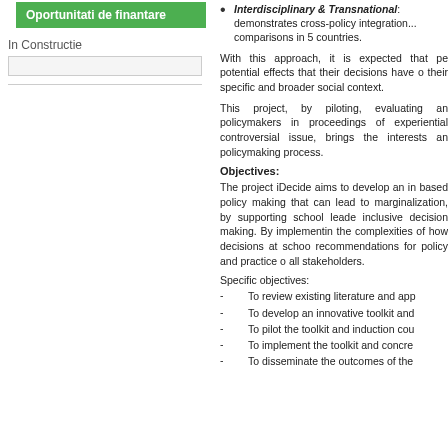Oportunitati de finantare
In Constructie
Interdisciplinary & Transnational: demonstrates cross-policy integration... comparisons in 5 countries.
With this approach, it is expected that p... potential effects that their decisions have o... their specific and broader social context.
This project, by piloting, evaluating an... policymakers in proceedings of experiential... controversial issue, brings the interests an... policymaking process.
Objectives:
The project iDecide aims to develop an in... based policy making that can lead to... marginalization, by supporting school leade... inclusive decision making. By implementin... the complexities of how decisions at schoo... recommendations for policy and practice o... all stakeholders.
Specific objectives:
To review existing literature and app...
To develop an innovative toolkit and...
To pilot the toolkit and induction cou...
To implement the toolkit and concre...
To disseminate the outcomes of the...